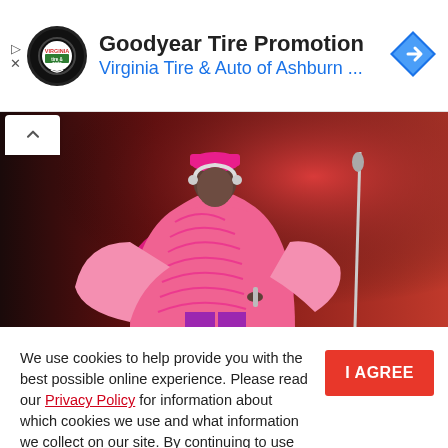[Figure (screenshot): Advertisement banner for Goodyear Tire Promotion by Virginia Tire & Auto of Ashburn with circular logo and blue navigation arrow icon]
Goodyear Tire Promotion
Virginia Tire & Auto of Ashburn ...
[Figure (photo): Person wearing pink oversized jacket performing on stage with red background and microphone stand]
We use cookies to help provide you with the best possible online experience. Please read our Privacy Policy for information about which cookies we use and what information we collect on our site. By continuing to use this site, you agree that we may store and access cookies on your device.